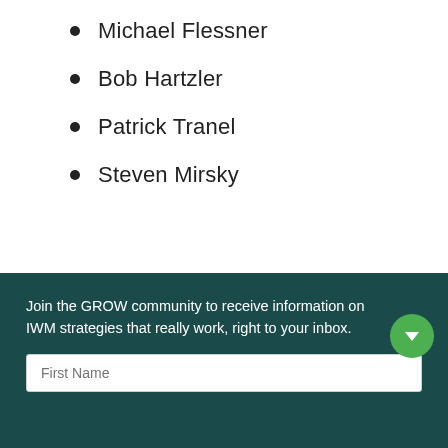Michael Flessner
Bob Hartzler
Patrick Tranel
Steven Mirsky
Join the GROW community to receive information on IWM strategies that really work, right to your inbox.
First Name